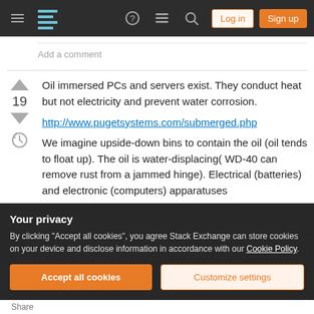Stack Exchange navigation bar with Log in and Sign up buttons
Add a comment
Oil immersed PCs and servers exist. They conduct heat but not electricity and prevent water corrosion.
http://www.pugetsystems.com/submerged.php
We imagine upside-down bins to contain the oil (oil tends to float up). The oil is water-displacing( WD-40 can remove rust from a jammed hinge). Electrical (batteries) and electronic (computers) apparatuses
Your privacy
By clicking "Accept all cookies", you agree Stack Exchange can store cookies on your device and disclose information in accordance with our Cookie Policy.
Accept all cookies
Customize settings
Share